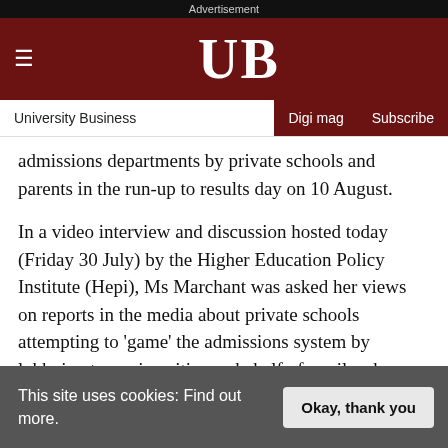Advertisement
UB
University Business | Digi mag | Subscribe
admissions departments by private schools and parents in the run-up to results day on 10 August.
In a video interview and discussion hosted today (Friday 30 July) by the Higher Education Policy Institute (Hepi), Ms Marchant was asked her views on reports in the media about private schools attempting to 'game' the admissions system by lobbying top universities on behalf of pupils who have narrowly missed out on their required grades.
This site uses cookies: Find out more.